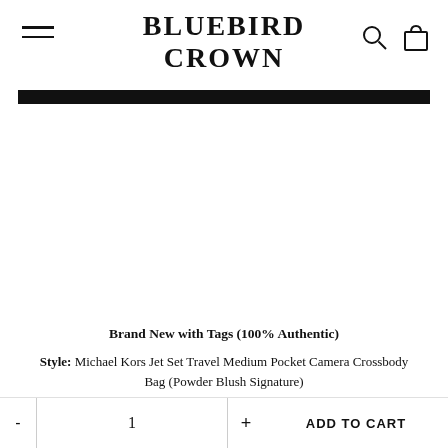BLUEBIRD CROWN
[Figure (other): White blank product image area]
Brand New with Tags (100% Authentic)
Style: Michael Kors Jet Set Travel Medium Pocket Camera Crossbody Bag (Powder Blush Signature)
Material: Signature PVC with Smooth Leather Flap and Trim
- 1 + ADD TO CART